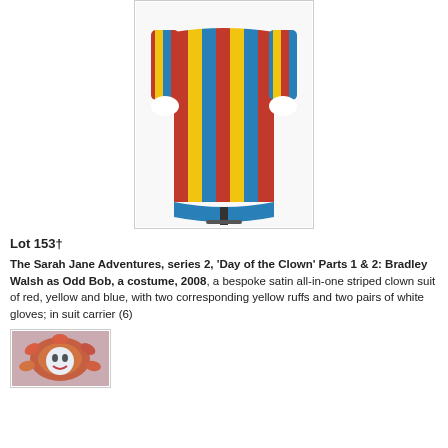[Figure (photo): A full-length clown costume on a mannequin/hanger, featuring vertical stripes of red, yellow, and blue satin, with white gloved hands visible at the sides. The costume hangs against a white background inside a bordered box.]
Lot 153†
The Sarah Jane Adventures, series 2, 'Day of the Clown' Parts 1 & 2: Bradley Walsh as Odd Bob, a costume, 2008, a bespoke satin all-in-one striped clown suit of red, yellow and blue, with two corresponding yellow ruffs and two pairs of white gloves; in suit carrier (6)
[Figure (photo): A partial thumbnail image showing a close-up of an orange/red clown ruff or wig accessory against a light background, inside a bordered box.]